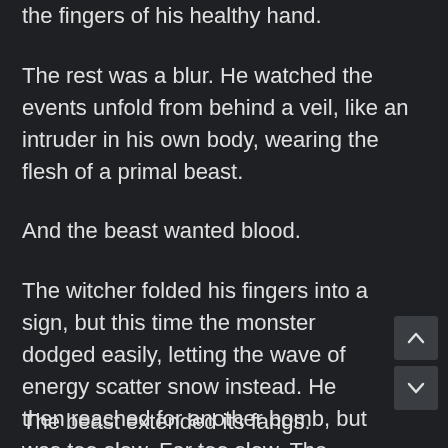into an ominous mask, long claws sprouted from the fingers of his healthy hand.
The rest was a blur. He watched the events unfold from behind a veil, like an intruder in his own body, wearing the flesh of a primal beast.
And the beast wanted blood.
The witcher folded his fingers into a sign, but this time the monster dodged easily, letting the wave of energy scatter snow instead. He then reached for another bomb, but was too slow. Far too slow. The vampire hit him with a furious blow, claws pierced his body with ease. His fingers slackened and the silver blade dropped into red-spattered frost.
The beast extended its fangs.